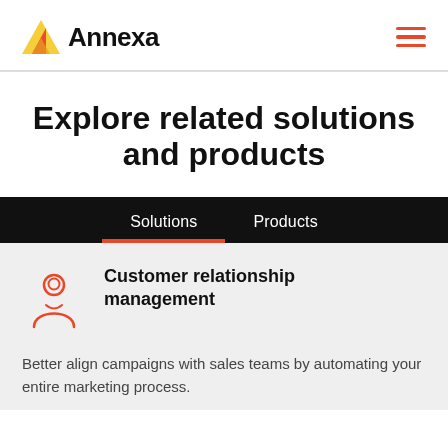Annexa
Explore related solutions and products
Solutions   Products
[Figure (illustration): Orange outline icon of a person/customer relationship management figure]
Customer relationship management
Better align campaigns with sales teams by automating your entire marketing process.